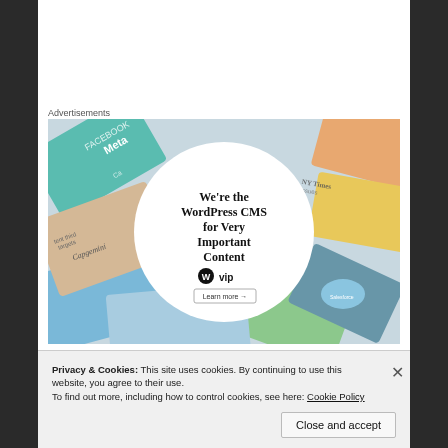Advertisements
[Figure (illustration): WordPress VIP advertisement showing colorful brand cards in the background with a white circle in the center containing text: We're the WordPress CMS for Very Important Content, with WordPress VIP logo and Learn more button.]
Sweet silence reigned over all lands where during
Privacy & Cookies: This site uses cookies. By continuing to use this website, you agree to their use.
To find out more, including how to control cookies, see here: Cookie Policy
Close and accept